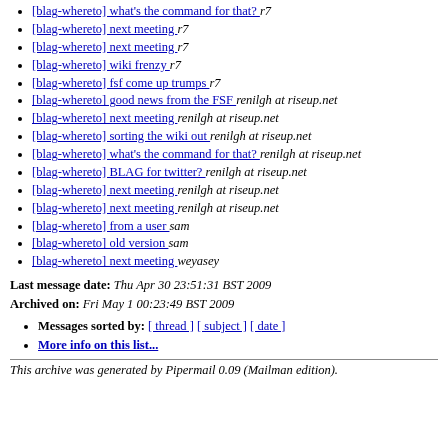[blag-whereto] what's the command for that?  r7
[blag-whereto] next meeting  r7
[blag-whereto] next meeting  r7
[blag-whereto] wiki frenzy  r7
[blag-whereto] fsf come up trumps  r7
[blag-whereto] good news from the FSF  renilgh at riseup.net
[blag-whereto] next meeting  renilgh at riseup.net
[blag-whereto] sorting the wiki out  renilgh at riseup.net
[blag-whereto] what's the command for that?  renilgh at riseup.net
[blag-whereto] BLAG for twitter?  renilgh at riseup.net
[blag-whereto] next meeting  renilgh at riseup.net
[blag-whereto] next meeting  renilgh at riseup.net
[blag-whereto] from a user  sam
[blag-whereto] old version  sam
[blag-whereto] next meeting  weyasey
Last message date: Thu Apr 30 23:51:31 BST 2009
Archived on: Fri May 1 00:23:49 BST 2009
Messages sorted by: [ thread ] [ subject ] [ date ]
More info on this list...
This archive was generated by Pipermail 0.09 (Mailman edition).